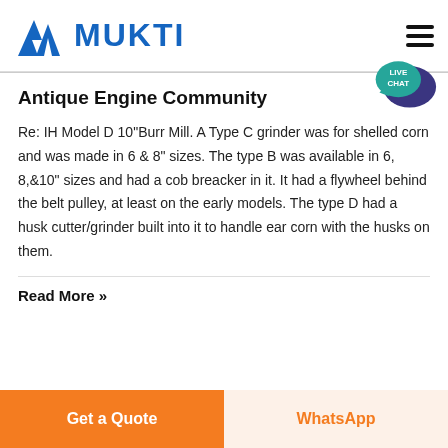MUKTI
Antique Engine Community
Re: IH Model D 10"Burr Mill. A Type C grinder was for shelled corn and was made in 6 & 8" sizes. The type B was available in 6, 8,&10" sizes and had a cob breacker in it. It had a flywheel behind the belt pulley, at least on the early models. The type D had a husk cutter/grinder built into it to handle ear corn with the husks on them.
Read More »
Get a Quote
WhatsApp